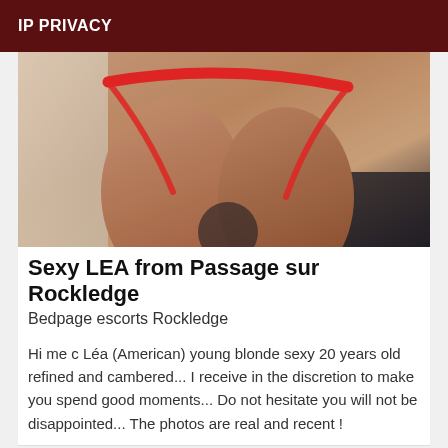IP PRIVACY
[Figure (photo): Close-up photo of person's lower body wearing red underwear/thong]
Sexy LEA from Passage sur Rockledge
Bedpage escorts Rockledge
Hi me c Léa (American) young blonde sexy 20 years old refined and cambered... I receive in the discretion to make you spend good moments... Do not hesitate you will not be disappointed... The photos are real and recent !